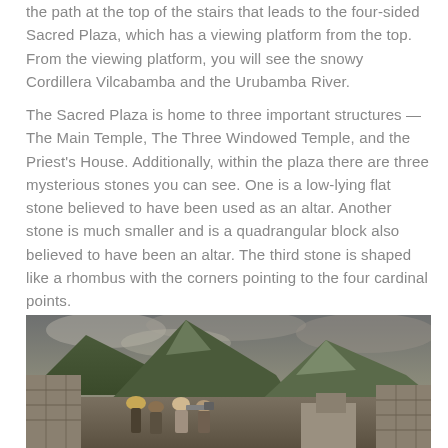the path at the top of the stairs that leads to the four-sided Sacred Plaza, which has a viewing platform from the top. From the viewing platform, you will see the snowy Cordillera Vilcabamba and the Urubamba River.
The Sacred Plaza is home to three important structures — The Main Temple, The Three Windowed Temple, and the Priest's House. Additionally, within the plaza there are three mysterious stones you can see. One is a low-lying flat stone believed to have been used as an altar. Another stone is much smaller and is a quadrangular block also believed to have been an altar. The third stone is shaped like a rhombus with the corners pointing to the four cardinal points.
[Figure (photo): Tourists at Machu Picchu ruins with Inca stone walls in the foreground, lush green mountains in the background, and a dramatic cloudy sky. People appear to be photographing or examining the site.]